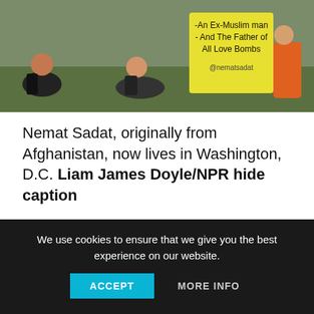[Figure (photo): Outdoor scene showing people sitting on grass; a person holds a yellow sign reading '-An Ex-Muslim man - And The Father of All Love Bombs @nematsadat']
Nemat Sadat, originally from Afghanistan, now lives in Washington, D.C. Liam James Doyle/NPR hide caption
toggle caption
Liam James Doyle/NPR
Nemat Sadat, originally from Afghanistan, now lives in
We use cookies to ensure that we give you the best experience on our website.